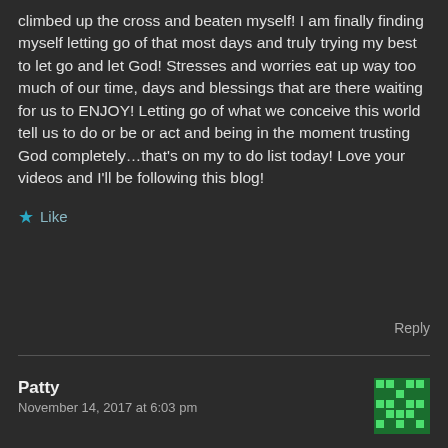climbed up the cross and beaten myself! I am finally finding myself letting go of that most days and truly trying my best to let go and let God! Stresses and worries eat up way too much of our time, days and blessings that are there waiting for us to ENJOY! Letting go of what we conceive this world tell us to do or be or act and being in the moment trusting God completely…that's on my to do list today! Love your videos and I'll be following this blog!
Like
Reply
Patty
November 14, 2017 at 6:03 pm